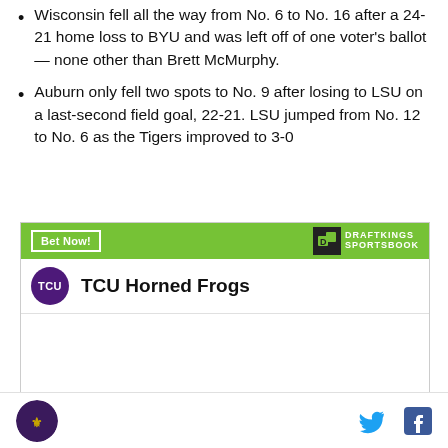Wisconsin fell all the way from No. 6 to No. 16 after a 24-21 home loss to BYU and was left off of one voter's ballot — none other than Brett McMurphy.
Auburn only fell two spots to No. 9 after losing to LSU on a last-second field goal, 22-21. LSU jumped from No. 12 to No. 6 as the Tigers improved to 3-0
[Figure (screenshot): DraftKings Sportsbook widget showing TCU Horned Frogs with odds +5000 to win National Championship]
TCU site logo, Twitter icon, Facebook icon